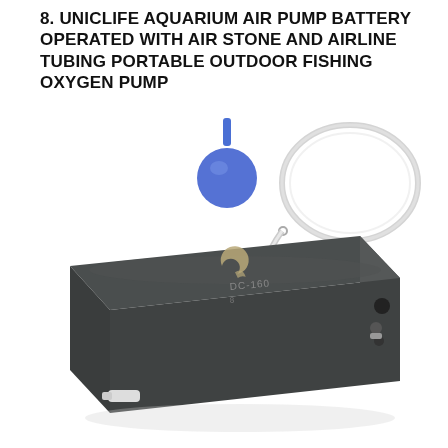8. UNICLIFE AQUARIUM AIR PUMP BATTERY OPERATED WITH AIR STONE AND AIRLINE TUBING PORTABLE OUTDOOR FISHING OXYGEN PUMP
[Figure (photo): Product photo of a UNICLIFE DC-160 battery-operated aquarium air pump (dark gray rectangular device with logo and controls on the right side), accompanied by a blue ball-shaped air stone and a coiled clear plastic airline tubing.]